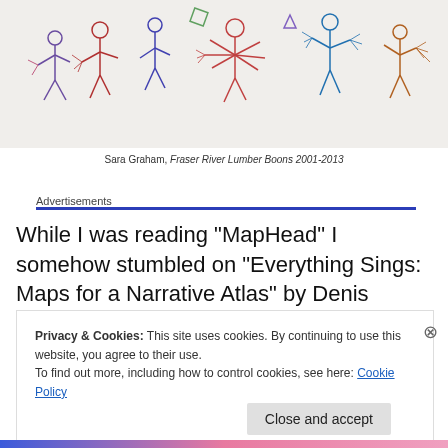[Figure (illustration): Colorful crayon/pencil drawings of stick-like figures and abstract shapes on a light gray/white background, reminiscent of children's art or folk illustration.]
Sara Graham, Fraser River Lumber Boons 2001-2013
Advertisements
While I was reading “MapHead” I somehow stumbled on “Everything Sings: Maps for a Narrative Atlas” by Denis Wood. This book has been republished in 2013 and is a
Privacy & Cookies: This site uses cookies. By continuing to use this website, you agree to their use.
To find out more, including how to control cookies, see here: Cookie Policy
Close and accept